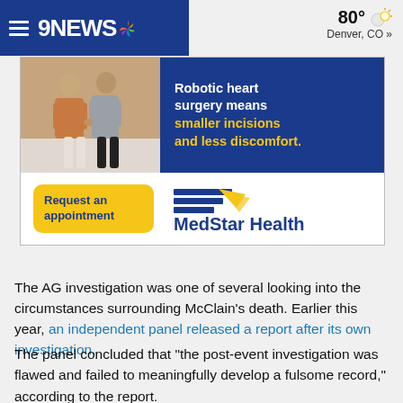9NEWS — 80° Denver, CO »
[Figure (advertisement): MedStar Health advertisement showing two people walking, with text 'Robotic heart surgery means smaller incisions and less discomfort.' A yellow 'Request an appointment' button and MedStar Health logo appear at the bottom.]
The AG investigation was one of several looking into the circumstances surrounding McClain's death. Earlier this year, an independent panel released a report after its own investigation.
The panel concluded that "the post-event investigation was flawed and failed to meaningfully develop a fulsome record," according to the report.